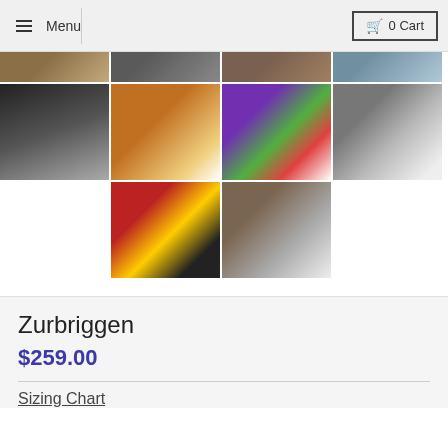Menu  |  0 Cart
[Figure (photo): Grid of skiing/ski patrol photos — partial top row of 4 cropped images]
[Figure (photo): Ski patrol person in black jacket with red cross, standing in snow]
[Figure (photo): Skier in orange jacket on snow slope]
[Figure (photo): Skier in colorful purple/green/red outfit with poles on snow]
[Figure (photo): Skier in powder snow against rock/snow background]
[Figure (photo): Ski patrol person in red jacket with backpack, yellow helmet, walking in snow]
[Figure (photo): Close-up of snow and boots/rocks in snowy terrain]
Zurbriggen
$259.00
Sizing Chart